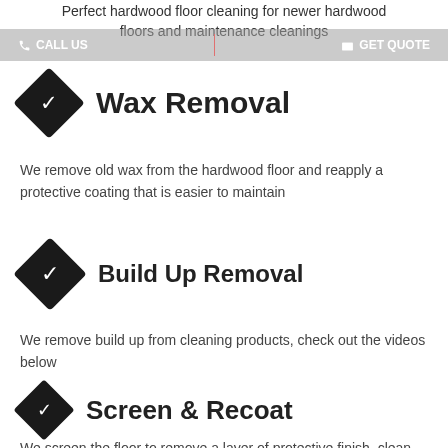CALL US   GET QUOTE
Perfect hardwood floor cleaning for newer hardwood floors and maintenance cleanings
Wax Removal
We remove old wax from the hardwood floor and reapply a protective coating that is easier to maintain
Build Up Removal
We remove build up from cleaning products, check out the videos below
Screen & Recoat
We screen the floor to remove a layer of protective finish, clean the floor, and recoat